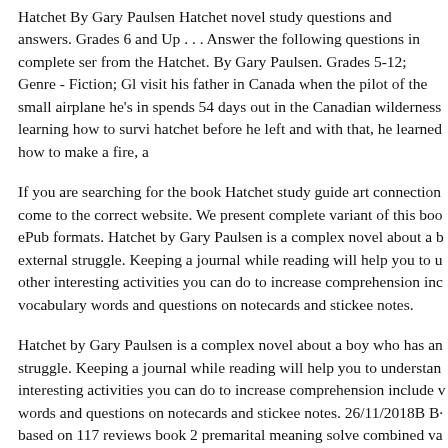Hatchet By Gary Paulsen Hatchet novel study questions and answers. Grades 6 and Up . . . Answer the following questions in complete sentences from the Hatchet. By Gary Paulsen. Grades 5-12; Genre - Fiction; Gl... visit his father in Canada when the pilot of the small airplane he's in... spends 54 days out in the Canadian wilderness learning how to survi... hatchet before he left and with that, he learned how to make a fire, a...
If you are searching for the book Hatchet study guide art connection... come to the correct website. We present complete variant of this boo... ePub formats. Hatchet by Gary Paulsen is a complex novel about a b... external struggle. Keeping a journal while reading will help you to u... other interesting activities you can do to increase comprehension inc... vocabulary words and questions on notecards and stickee notes.
Hatchet by Gary Paulsen is a complex novel about a boy who has an... struggle. Keeping a journal while reading will help you to understan... interesting activities you can do to increase comprehension include v... words and questions on notecards and stickee notes. 26/11/2018B B·... based on 117 reviews book 2 premarital meaning solve combined va... The 1... the 1... in ... self in ... child f... b... with i...